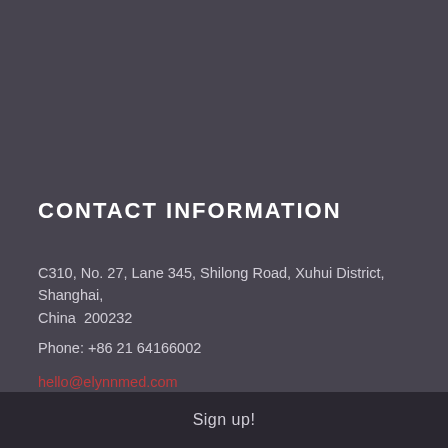CONTACT INFORMATION
C310, No. 27, Lane 345, Shilong Road, Xuhui District, Shanghai, China  200232
Phone: +86 21 64166002
hello@elynnmed.com
WE ARE WORKING ON
Sign up!